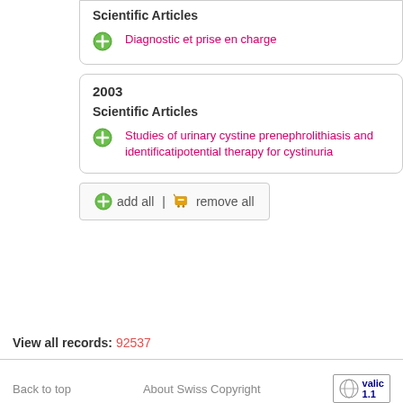Scientific Articles
Diagnostic et prise en charge
2003
Scientific Articles
Studies of urinary cystine precipitation, nephrolithiasis and identification of potential therapy for cystinuria
add all | remove all
View all records: 92537
Back to top    About Swiss Copyright    valid 1.1